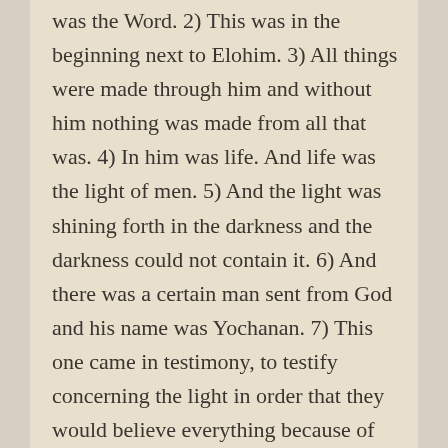was the Word. 2) This was in the beginning next to Elohim. 3) All things were made through him and without him nothing was made from all that was. 4) In him was life. And life was the light of men. 5) And the light was shining forth in the darkness and the darkness could not contain it. 6) And there was a certain man sent from God and his name was Yochanan. 7) This one came in testimony, to testify concerning the light in order that they would believe everything because of him. 8) He was not the light, but only testifying concerning the light. 9) It was true light, to shed light on all to every man who enters into This World. 10) He was in the world and the world was made through